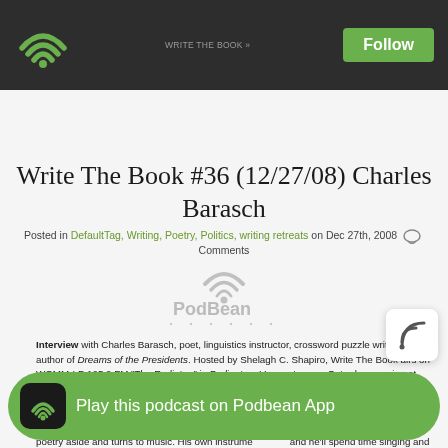Write The Book podcast — Podbean
Write The Book #36 (12/27/08) Charles Barasch
Posted in DefaultTag, Writing, Poetry, Politics, writing retreats on Dec 27th, 2008  Comments
[Figure (logo): PodBean logo with wifi arc and dots]
Interview with Charles Barasch, poet, linguistics instructor, crossword puzzle writer, and author of Dreams of the Presidents. Hosted by Shelagh C. Shapiro, Write The Book airs on WOMM-LP 105.9 FM "The Radiator," in Burlington, Vermont, every Saturday morning at 9:00 a.m.
Prompt: Today's Write The Book Prompt is inspired in part by the interview you heard today. Charlie Barasch mentioned that when he has trouble writing, he sometimes sets his poetry aside and turns to music. His own instrument is the guitar, and he'll spend time singing and playing songs in order to jumpstart his brain and motivate the words to flow once more.
Oliver Sacks, in his book Musicophilia, writes extensively about the relationship between music and language. It is not surprising that the two are linked, since both involve sound and rhythm, and both are processed in tandem or independently... no less than a
[Figure (infographic): Play this podcast on Podbean App banner with green background and wifi icon]